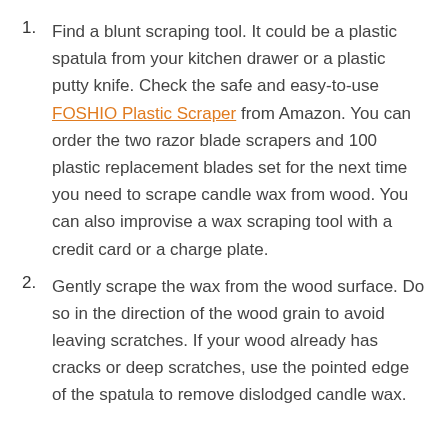Find a blunt scraping tool. It could be a plastic spatula from your kitchen drawer or a plastic putty knife. Check the safe and easy-to-use FOSHIO Plastic Scraper from Amazon. You can order the two razor blade scrapers and 100 plastic replacement blades set for the next time you need to scrape candle wax from wood. You can also improvise a wax scraping tool with a credit card or a charge plate.
Gently scrape the wax from the wood surface. Do so in the direction of the wood grain to avoid leaving scratches. If your wood already has cracks or deep scratches, use the pointed edge of the spatula to remove dislodged candle wax.